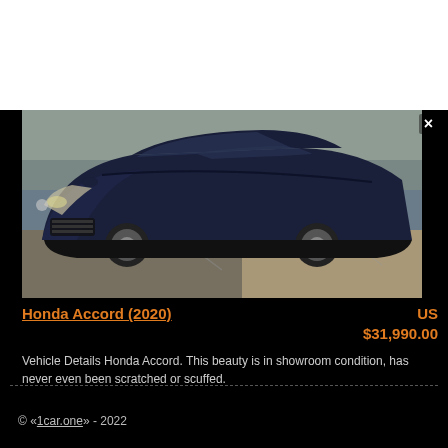[Figure (photo): Dark navy blue Honda Accord 2020 sedan photographed from the front-left angle in a parking area with asphalt and some dry grass visible in background.]
Honda Accord (2020)
US $31,990.00
Vehicle Details Honda Accord. This beauty is in showroom condition, has never even been scratched or scuffed.
© «1car.one» - 2022